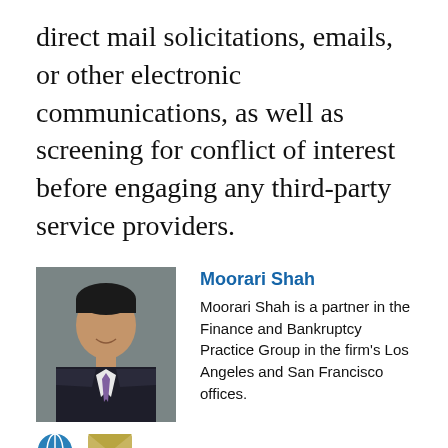direct mail solicitations, emails, or other electronic communications, as well as screening for conflict of interest before engaging any third-party service providers.
[Figure (photo): Professional headshot of Moorari Shah, a man in a dark suit with a purple tie, smiling]
Moorari Shah
Moorari Shah is a partner in the Finance and Bankruptcy Practice Group in the firm's Los Angeles and San Francisco offices.
[Figure (infographic): Globe icon and envelope/email icon representing contact links]
[Figure (photo): Professional headshot of A.J. Dhaliwal, a man in a dark suit]
A.J. Dhaliwal
A.J. is a special counsel in the Finance and